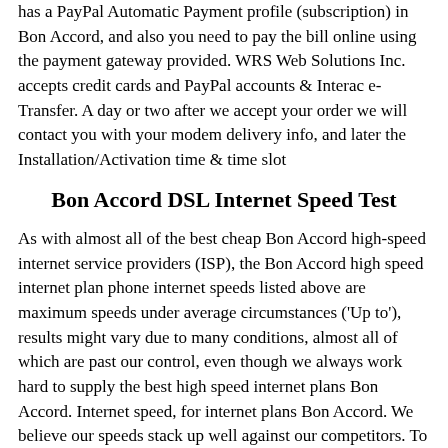has a PayPal Automatic Payment profile (subscription) in Bon Accord, and also you need to pay the bill online using the payment gateway provided. WRS Web Solutions Inc. accepts credit cards and PayPal accounts & Interac e-Transfer. A day or two after we accept your order we will contact you with your modem delivery info, and later the Installation/Activation time & time slot
Bon Accord DSL Internet Speed Test
As with almost all of the best cheap Bon Accord high-speed internet service providers (ISP), the Bon Accord high speed internet plan phone internet speeds listed above are maximum speeds under average circumstances ('Up to'), results might vary due to many conditions, almost all of which are past our control, even though we always work hard to supply the best high speed internet plans Bon Accord. Internet speed, for internet plans Bon Accord. We believe our speeds stack up well against our competitors. To see more information on the bunch of internet services regarding Bon Accord matters please read our Knowledgebase. Our company's DSL packages should not be assumed to be any faster than their packages sold by Bell or the cable company.